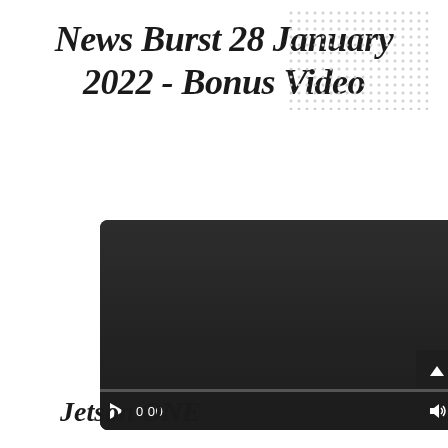News Burst 28 January 2022 - Bonus Video
[Figure (screenshot): Embedded video player with dark background, play button, time display showing 0:00, volume icon, and expand button. Progress bar at bottom.]
Jetson ONE